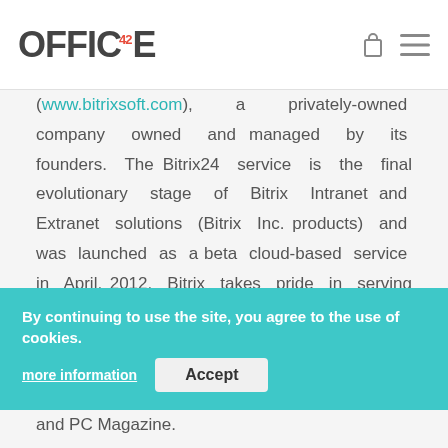OFFICE42
(www.bitrixsoft.com), a privately-owned company owned and managed by its founders. The Bitrix24 service is the final evolutionary stage of Bitrix Intranet and Extranet solutions (Bitrix Inc. products) and was launched as a beta cloud-based service in April, 2012. Bitrix takes pride in serving customers ranging from Fortune 500 companies to small organizations, including well-known enterprises like Xerox, Samsung, Volkswagen, KIA, Gazprom, Vogue and PC Magazine.
By continuing to use the site, you agree to the use of cookies. more information Accept